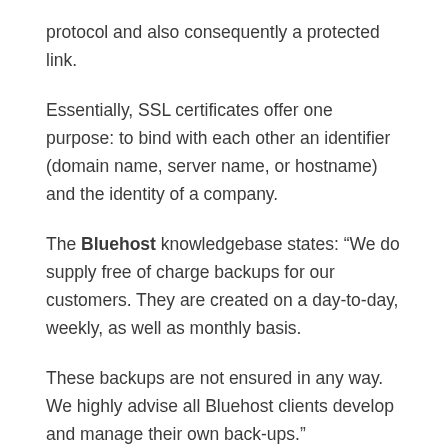protocol and also consequently a protected link.
Essentially, SSL certificates offer one purpose: to bind with each other an identifier (domain name, server name, or hostname) and the identity of a company.
The Bluehost knowledgebase states: “We do supply free of charge backups for our customers. They are created on a day-to-day, weekly, as well as monthly basis.
These backups are not ensured in any way. We highly advise all Bluehost clients develop and manage their own back-ups.”
Assistance?
When it concerns web hosting, the best kind of customer assistance is one that’s available 24/7 and covers all support methods including online conversation, support tickets, telephone,